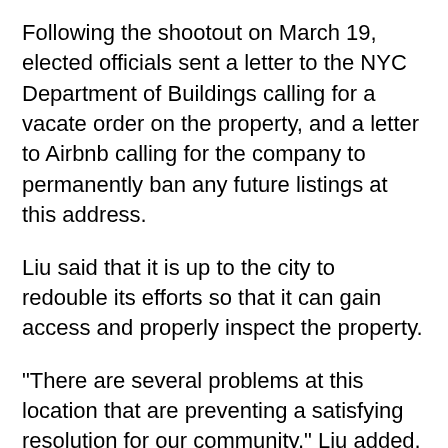Following the shootout on March 19, elected officials sent a letter to the NYC Department of Buildings calling for a vacate order on the property, and a letter to Airbnb calling for the company to permanently ban any future listings at this address.
Liu said that it is up to the city to redouble its efforts so that it can gain access and properly inspect the property.
"There are several problems at this location that are preventing a satisfying resolution for our community," Liu added. "At the end of the day, the city needs to be the one to step up and recognize the dangers here as reason enough to vacate the premises and keep our community safe."
According to Joseph Marziliano, district manager of Community Board 11, the property in question was already problematic for the neighborhood, several years before